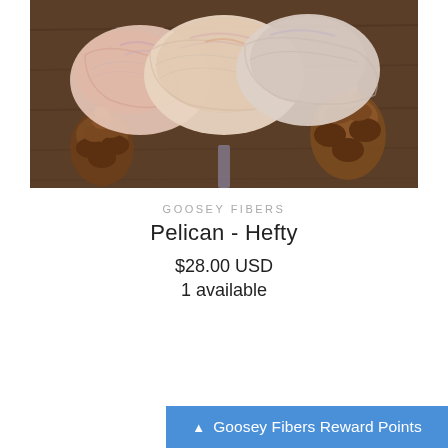[Figure (photo): Skeins of hand-dyed yarn in soft pink, peach, and lavender tones arranged on a wooden surface with pine cones]
GOOSEY FIBERS
Pelican - Hefty
$28.00 USD
1 available
Goosey Fibers Reward Points